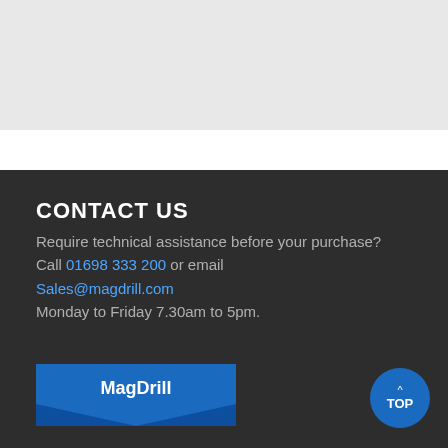CONTACT US
Require technical assistance before your purchase?
Call 01698 333 200 or email
Sales@magdrill.com
Monday to Friday 7.30am to 5pm.
[Figure (logo): MagDrill blue logo with chevron/envelope shape at bottom]
This site uses cookies to deliver a better expereince.
Accept & Close